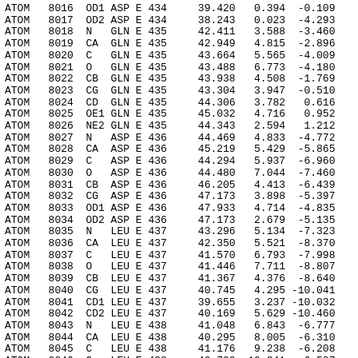| Record | Serial | Name | Res | Ch | Seq | X | Y | Z |
| --- | --- | --- | --- | --- | --- | --- | --- | --- |
| ATOM | 8016 | OD1 | ASP | E | 434 | 39.420 | 0.394 | -0.109 |
| ATOM | 8017 | OD2 | ASP | E | 434 | 38.243 | 0.023 | -4.293 |
| ATOM | 8018 | N | GLN | E | 435 | 42.411 | 3.588 | -3.460 |
| ATOM | 8019 | CA | GLN | E | 435 | 42.949 | 4.815 | -2.896 |
| ATOM | 8020 | C | GLN | E | 435 | 43.664 | 5.565 | -4.009 |
| ATOM | 8021 | O | GLN | E | 435 | 43.488 | 6.773 | -4.180 |
| ATOM | 8022 | CB | GLN | E | 435 | 43.938 | 4.508 | -1.769 |
| ATOM | 8023 | CG | GLN | E | 435 | 43.304 | 3.947 | -0.510 |
| ATOM | 8024 | CD | GLN | E | 435 | 44.306 | 3.782 | 0.616 |
| ATOM | 8025 | OE1 | GLN | E | 435 | 45.032 | 4.716 | 0.952 |
| ATOM | 8026 | NE2 | GLN | E | 435 | 44.343 | 2.594 | 1.212 |
| ATOM | 8027 | N | ASP | E | 436 | 44.469 | 4.833 | -4.772 |
| ATOM | 8028 | CA | ASP | E | 436 | 45.219 | 5.429 | -5.865 |
| ATOM | 8029 | C | ASP | E | 436 | 44.294 | 5.937 | -6.960 |
| ATOM | 8030 | O | ASP | E | 436 | 44.480 | 7.044 | -7.460 |
| ATOM | 8031 | CB | ASP | E | 436 | 46.205 | 4.413 | -6.439 |
| ATOM | 8032 | CG | ASP | E | 436 | 47.173 | 3.898 | -5.397 |
| ATOM | 8033 | OD1 | ASP | E | 436 | 47.933 | 4.714 | -4.835 |
| ATOM | 8034 | OD2 | ASP | E | 436 | 47.173 | 2.679 | -5.135 |
| ATOM | 8035 | N | LEU | E | 437 | 43.296 | 5.134 | -7.323 |
| ATOM | 8036 | CA | LEU | E | 437 | 42.350 | 5.521 | -8.370 |
| ATOM | 8037 | C | LEU | E | 437 | 41.570 | 6.793 | -7.998 |
| ATOM | 8038 | O | LEU | E | 437 | 41.446 | 7.711 | -8.807 |
| ATOM | 8039 | CB | LEU | E | 437 | 41.367 | 4.376 | -8.640 |
| ATOM | 8040 | CG | LEU | E | 437 | 40.745 | 4.295 | -10.041 |
| ATOM | 8041 | CD1 | LEU | E | 437 | 39.655 | 3.237 | -10.032 |
| ATOM | 8042 | CD2 | LEU | E | 437 | 40.169 | 5.629 | -10.460 |
| ATOM | 8043 | N | LEU | E | 438 | 41.048 | 6.843 | -6.777 |
| ATOM | 8044 | CA | LEU | E | 438 | 40.295 | 8.005 | -6.310 |
| ATOM | 8045 | C | LEU | E | 438 | 41.176 | 9.238 | -6.208 |
| ATOM | 8046 | O | LEU | E | 438 | 40.700 | 10.341 | -6.507 |